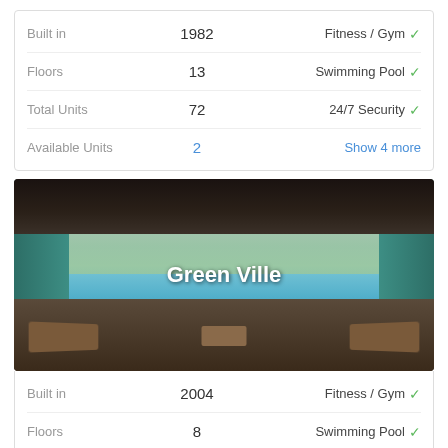| Property Info | Value | Amenity |
| --- | --- | --- |
| Built in | 1982 | Fitness / Gym ✓ |
| Floors | 13 | Swimming Pool ✓ |
| Total Units | 72 | 24/7 Security ✓ |
| Available Units | 2 | Show 4 more |
[Figure (photo): Indoor swimming pool area of Green Ville apartment complex with teal tile walls, sun loungers in foreground, ceiling with recessed panels, and outdoor view in background. Title 'Green Ville' overlaid in white text.]
| Property Info | Value | Amenity |
| --- | --- | --- |
| Built in | 2004 | Fitness / Gym ✓ |
| Floors | 8 | Swimming Pool ✓ |